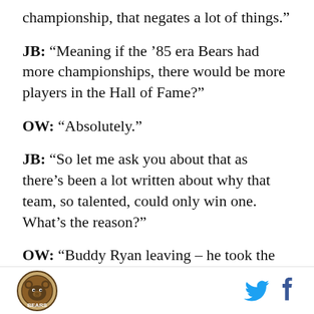championship, that negates a lot of things.”
JB: “Meaning if the ’85 era Bears had more championships, there would be more players in the Hall of Fame?”
OW: “Absolutely.”
JB: “So let me ask you about that as there’s been a lot written about why that team, so talented, could only win one. What’s the reason?”
OW: “Buddy Ryan leaving – he took the aggressiveness with him. In this business, in any business, if you reach success, you want the next step. He says – anyone who reaches their ultimate goal…
Bears logo | Twitter | Facebook